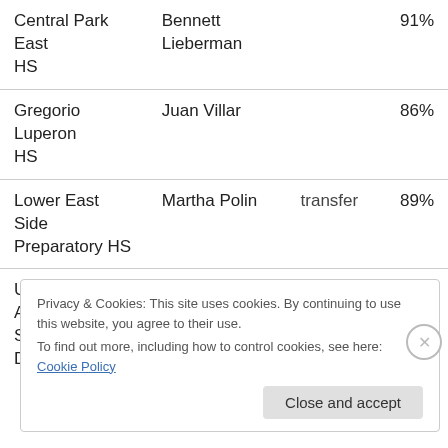| School | Principal | Type | Pct |
| --- | --- | --- | --- |
| Central Park East HS | Bennett Lieberman |  | 91% |
| Gregorio Luperon HS | Juan Villar |  | 86% |
| Lower East Side Preparatory HS | Martha Polin | transfer | 89% |
| Urban Assembly School of Design | Matthew Willoughby |  | 86% |
Privacy & Cookies: This site uses cookies. By continuing to use this website, you agree to their use.
To find out more, including how to control cookies, see here: Cookie Policy
Close and accept